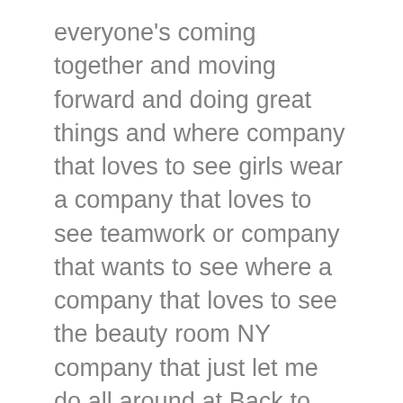everyone's coming together and moving forward and doing great things and where company that loves to see girls wear a company that loves to see teamwork or company that wants to see where a company that loves to see the beauty room NY company that just let me do all around at Back to Basics mother's basement remodeling Milwaukee and we're always here to serve our families and their remodeling projects you just broke on now is the Sun a bandaid on it Go Fish you would need to buy another no I have plenty over here and listen I tried to fix it that's when I ripped off I don't know I just wanted these on cuz I have an interview today at 5 at least they won't be all like yeah I just need a Band-Aid for this one I'm going to cut them when I get home